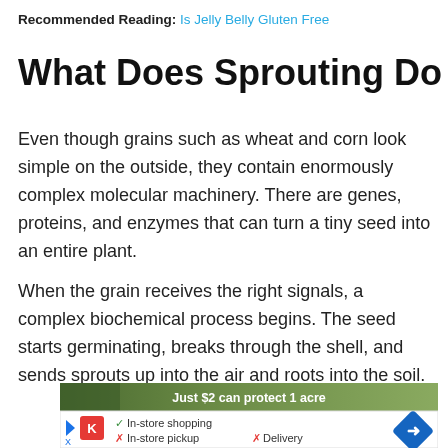Recommended Reading: Is Jelly Belly Gluten Free
What Does Sprouting Do
Even though grains such as wheat and corn look simple on the outside, they contain enormously complex molecular machinery. There are genes, proteins, and enzymes that can turn a tiny seed into an entire plant.
When the grain receives the right signals, a complex biochemical process begins. The seed starts germinating, breaks through the shell, and sends sprouts up into the air and roots into the soil.
[Figure (other): Advertisement banner: top portion shows green nature background with text 'Just $2 can protect 1 acre'; bottom portion shows store shopping ad with Kroger logo, checkmarks for In-store shopping, X marks for In-store pickup and Delivery, navigation arrow icon.]